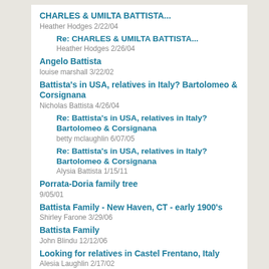CHARLES & UMILTA BATTISTA...
Heather Hodges 2/22/04
Re: CHARLES & UMILTA BATTISTA...
Heather Hodges 2/26/04
Angelo Battista
louise marshall 3/22/02
Battista's in USA, relatives in Italy? Bartolomeo & Corsignana
Nicholas Battista 4/26/04
Re: Battista's in USA, relatives in Italy? Bartolomeo & Corsignana
betty mclaughlin 6/07/05
Re: Battista's in USA, relatives in Italy? Bartolomeo & Corsignana
Alysia Battista 1/15/11
Porrata-Doria family tree
9/05/01
Battista Family - New Haven, CT - early 1900's
Shirley Farone 3/29/06
Battista Family
John Blindu 12/12/06
Looking for relatives in Castel Frentano, Italy
Alesia Laughlin 2/17/02